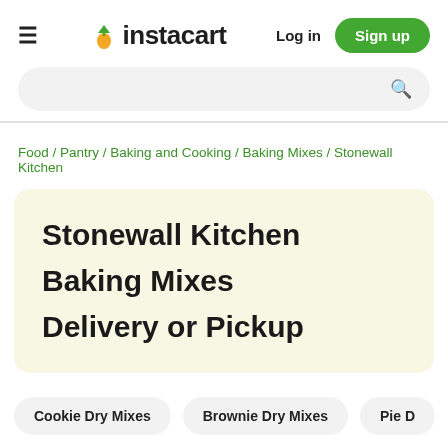≡  instacart   Log in   Sign up
Search bar
Food / Pantry / Baking and Cooking / Baking Mixes / Stonewall Kitchen
Stonewall Kitchen Baking Mixes Delivery or Pickup
Cookie Dry Mixes
Brownie Dry Mixes
Pie